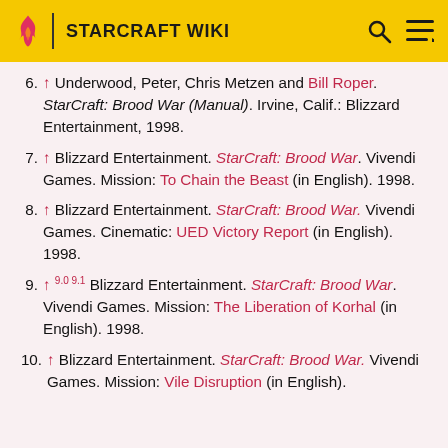STARCRAFT WIKI
6. ↑ Underwood, Peter, Chris Metzen and Bill Roper. StarCraft: Brood War (Manual). Irvine, Calif.: Blizzard Entertainment, 1998.
7. ↑ Blizzard Entertainment. StarCraft: Brood War. Vivendi Games. Mission: To Chain the Beast (in English). 1998.
8. ↑ Blizzard Entertainment. StarCraft: Brood War. Vivendi Games. Cinematic: UED Victory Report (in English). 1998.
9. ↑ 9.0 9.1 Blizzard Entertainment. StarCraft: Brood War. Vivendi Games. Mission: The Liberation of Korhal (in English). 1998.
10. ↑ Blizzard Entertainment. StarCraft: Brood War. Vivendi Games. Mission: Vile Disruption (in English).